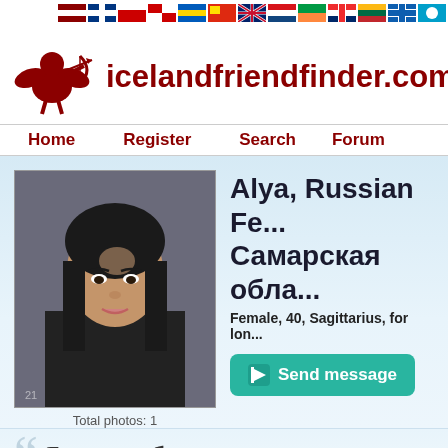[Figure (other): Row of country flag icons at the top right of the page]
[Figure (logo): Cupid/cherub archer logo icon for icelandfriendfinder.com]
icelandfriendfinder.com
Home   Register   Search   Forum
[Figure (photo): Profile photo of Alya, a young woman with dark hair]
Total photos: 1
Alya, Russian Fe... Самарская обла...
Female, 40, Sagittarius, for lon...
Send message
Я самая обычна...